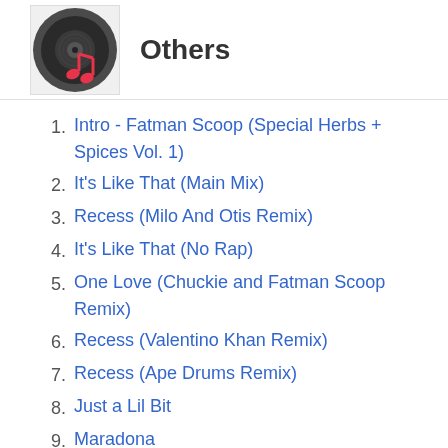[Figure (illustration): Music app icon with a vinyl record and red musical notes on a dark circular background]
Others
1. Intro - Fatman Scoop (Special Herbs + Spices Vol. 1)
2. It's Like That (Main Mix)
3. Recess (Milo And Otis Remix)
4. It's Like That (No Rap)
5. One Love (Chuckie and Fatman Scoop Remix)
6. Recess (Valentino Khan Remix)
7. Recess (Ape Drums Remix)
8. Just a Lil Bit
9. Maradona
10. Recess (Flux Pavilion Remix)
11. Reckless (Psycho Boys Remix)
12. Swing Um